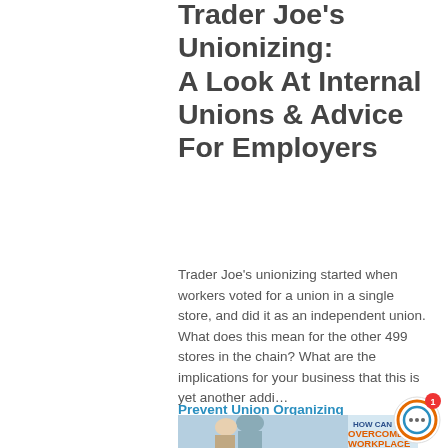Trader Joe's Unionizing: A Look At Internal Unions & Advice For Employers
Trader Joe's unionizing started when workers voted for a union in a single store, and did it as an independent union. What does this mean for the other 499 stores in the chain? What are the implications for your business that this is yet another addi...
Prevent Union Organizing
[Figure (photo): Partial view of article card image showing people in a workplace setting with overlay text reading HOW CAN WE OVERCOME WORKPLACE]